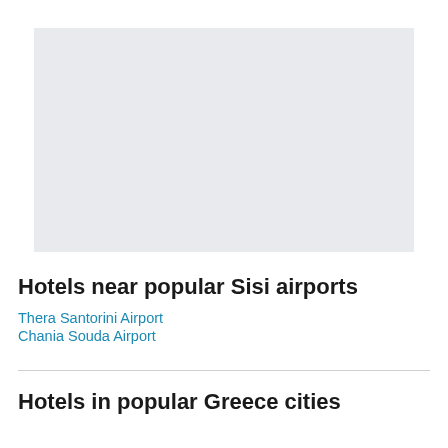[Figure (other): Light gray rectangular placeholder image area]
Hotels near popular Sisi airports
Thera Santorini Airport
Chania Souda Airport
Hotels in popular Greece cities